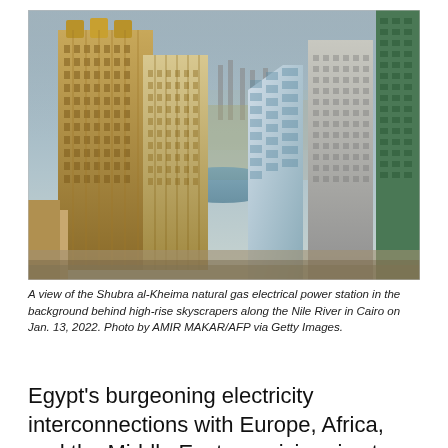[Figure (photo): Aerial view of Cairo skyline showing high-rise skyscrapers along the Nile River with the Shubra al-Kheima natural gas electrical power station visible in the background, photographed on Jan. 13, 2022.]
A view of the Shubra al-Kheima natural gas electrical power station in the background behind high-rise skyscrapers along the Nile River in Cairo on Jan. 13, 2022. Photo by AMIR MAKAR/AFP via Getty Images.
Egypt's burgeoning electricity interconnections with Europe, Africa, and the Middle East are giving rise to